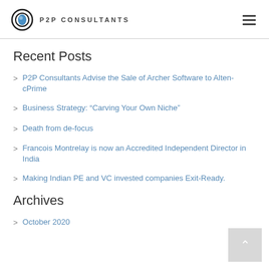P2P CONSULTANTS
Recent Posts
P2P Consultants Advise the Sale of Archer Software to Alten-cPrime
Business Strategy: "Carving Your Own Niche"
Death from de-focus
Francois Montrelay is now an Accredited Independent Director in India
Making Indian PE and VC invested companies Exit-Ready.
Archives
October 2020